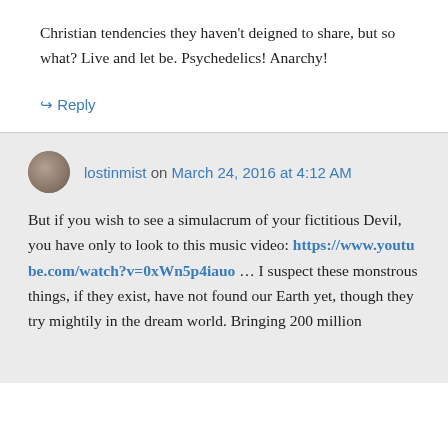Christian tendencies they haven't deigned to share, but so what? Live and let be. Psychedelics! Anarchy!
↳ Reply
lostinmist on March 24, 2016 at 4:12 AM
But if you wish to see a simulacrum of your fictitious Devil, you have only to look to this music video: https://www.youtube.com/watch?v=0xWn5p4iauo … I suspect these monstrous things, if they exist, have not found our Earth yet, though they try mightily in the dream world. Bringing 200 million